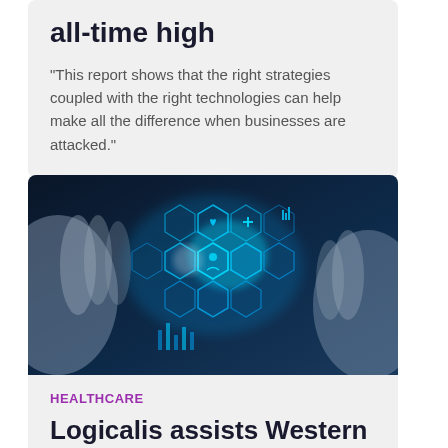all-time high
"This report shows that the right strategies coupled with the right technologies can help make all the difference when businesses are attacked."
[Figure (photo): Hands interacting with a glowing digital healthcare technology interface showing hexagonal icons and data visualizations on a dark blue background]
HEALTHCARE
Logicalis assists Western Health Victoria with Active